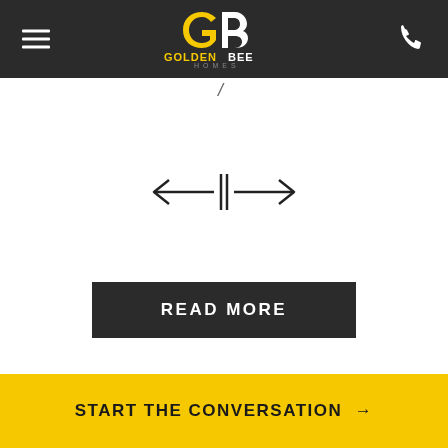Golden Bee Homes — navigation header with logo
[Figure (logo): Golden Bee Homes logo — GB monogram in gold/white on dark background with GOLDENBEE HOMES wordmark]
/
[Figure (other): Slider navigation arrows — left arrow, vertical divider, right arrow]
READ MORE
START THE CONVERSATION →